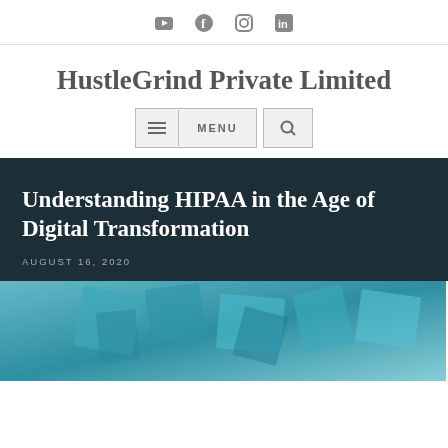YouTube Facebook Instagram LinkedIn social icons
HustleGrind Private Limited
MENU navigation bar
Understanding HIPAA in the Age of Digital Transformation
AUGUST 16, 2020
[Figure (photo): Teal/blue abstract geometric shapes background image for article header]